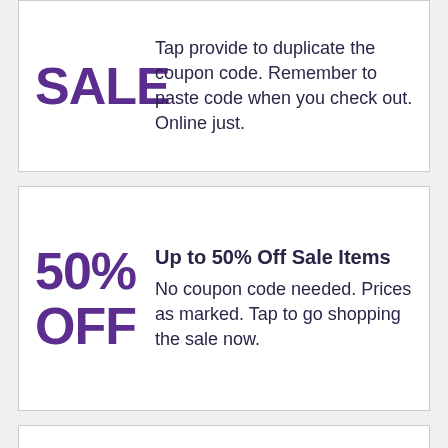SALE
Tap provide to duplicate the coupon code. Remember to paste code when you check out. Online just.
Up to 50% Off Sale Items
50% OFF
No coupon code needed. Prices as marked. Tap to go shopping the sale now.
Get 1% Cash Back For Purchases Sitewide
Combine with other offers for an even